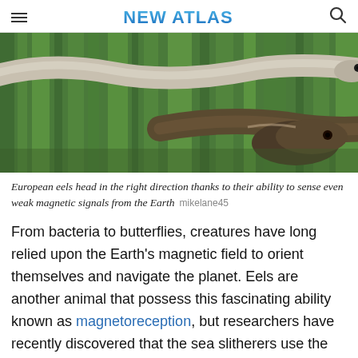NEW ATLAS
[Figure (photo): Close-up photograph of European eels against a green background, showing the elongated body of an eel with a dark eye visible]
European eels head in the right direction thanks to their ability to sense even weak magnetic signals from the Earth  mikelane45
From bacteria to butterflies, creatures have long relied upon the Earth's magnetic field to orient themselves and navigate the planet. Eels are another animal that possess this fascinating ability known as magnetoreception, but researchers have recently discovered that the sea slitherers use the talent in a